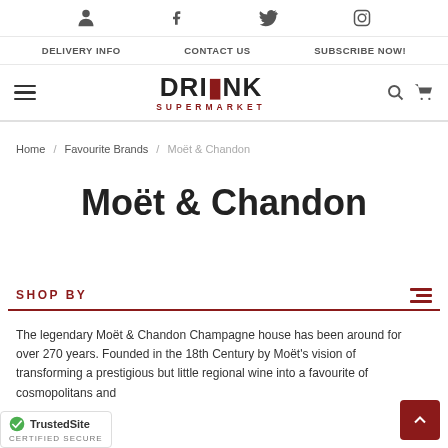Drink Supermarket — top navigation with social icons, delivery info, contact us, subscribe now, logo, hamburger menu, search and cart icons
Home / Favourite Brands / Moët & Chandon
Moët & Chandon
SHOP BY
The legendary Moët & Chandon Champagne house has been around for over 270 years. Founded in the 18th Century by Moët's vision of transforming a prestigious but little regional wine into a favourite of cosmopolitans and